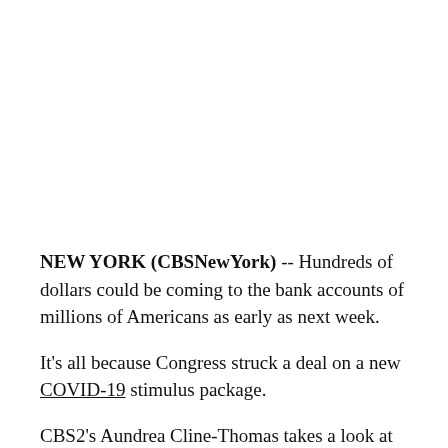NEW YORK (CBSNewYork) -- Hundreds of dollars could be coming to the bank accounts of millions of Americans as early as next week.
It's all because Congress struck a deal on a new COVID-19 stimulus package.
CBS2's Aundrea Cline-Thomas takes a look at what it